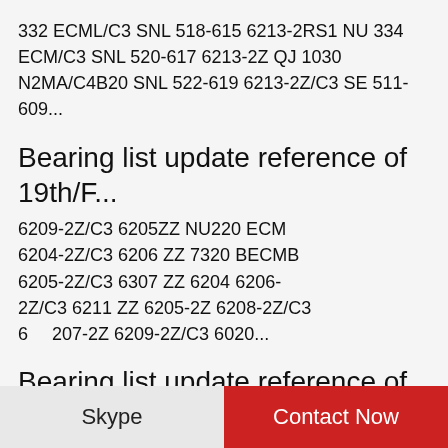332 ECML/C3 SNL 518-615 6213-2RS1 NU 334 ECM/C3 SNL 520-617 6213-2Z QJ 1030 N2MA/C4B20 SNL 522-619 6213-2Z/C3 SE 511-609...
Bearing list update reference of 19th/F...
6209-2Z/C3 6205ZZ NU220 ECM 6204-2Z/C3 6206 ZZ 7320 BECMB 6205-2Z/C3 6307 ZZ 6204 6206-2Z/C3 6211 ZZ 6205-2Z 6208-2Z/C3 6207-2Z 6209-2Z/C3 6020...
[Figure (illustration): WhatsApp Online button: green circle with phone icon and text 'WhatsApp Online' in italic bold below]
Bearing list update reference of 20th/D...
1 MOTOR SHAFT SEAL V-RING TYPE-A,V-45A MOTOR SHAFT SEAL V-RING TYPE-A,V-45A OIL SEAL VA FOR ELECTRICAL MOTOR – STANDARD STYLE...
Skype | Contact Now